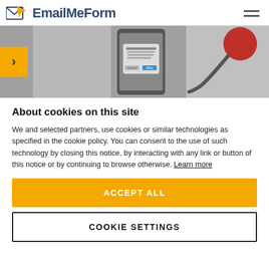EmailMeForm
[Figure (screenshot): Website banner/hero image showing a smartphone with a camera permissions dialog box overlaid, next to a red stethoscope on a gray background. A yellow navigation arrow tab is visible on the left.]
About cookies on this site
We and selected partners, use cookies or similar technologies as specified in the cookie policy. You can consent to the use of such technology by closing this notice, by interacting with any link or button of this notice or by continuing to browse otherwise. Learn more
ACCEPT ALL
COOKIE SETTINGS